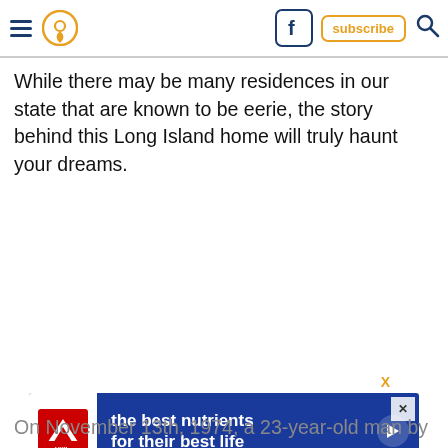[Navigation header with hamburger menu, location icon, Facebook icon, subscribe button, search icon]
While there may be many residences in our state that are known to be eerie, the story behind this Long Island home will truly haunt your dreams.
[Figure (screenshot): Hill's pet food advertisement banner on blue background: 'the best nutrients for their best life']
On November 13th, 1974, a 23-year-old man by